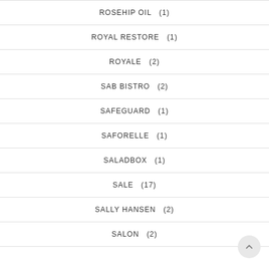ROSEHIP OIL  (1)
ROYAL RESTORE  (1)
ROYALE  (2)
SAB BISTRO  (2)
SAFEGUARD  (1)
SAFORELLE  (1)
SALADBOX  (1)
SALE  (17)
SALLY HANSEN  (2)
SALON  (2)